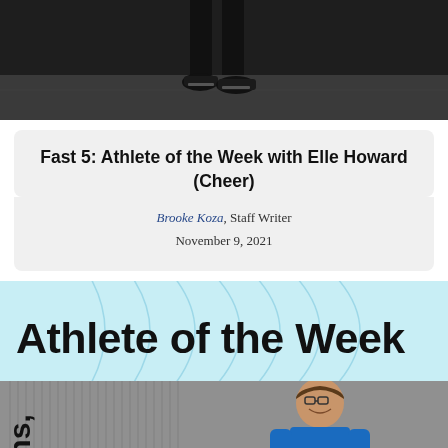[Figure (photo): Top portion of a photo showing a person standing in a gymnasium or school hallway, only shoes and lower legs visible against a dark floor]
Fast 5: Athlete of the Week with Elle Howard (Cheer)
Brooke Koza, Staff Writer
November 9, 2021
[Figure (infographic): Light blue banner graphic with decorative arc lines reading 'Athlete of the Week' in large bold black text]
[Figure (photo): Bottom portion of an Athlete of the Week graphic showing a young male athlete in a blue shirt smiling, with partially visible rotated text reading 'vans,' and 'er' on the left side]